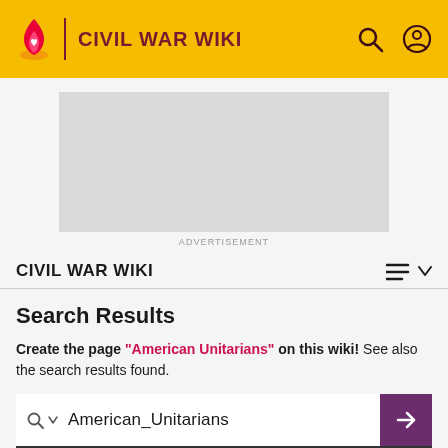CIVIL WAR WIKI
[Figure (other): Advertisement placeholder (gray rectangle)]
ADVERTISEMENT
CIVIL WAR WIKI
Search Results
Create the page "American Unitarians" on this wiki! See also the search results found.
American_Unitarians
ADVANCED